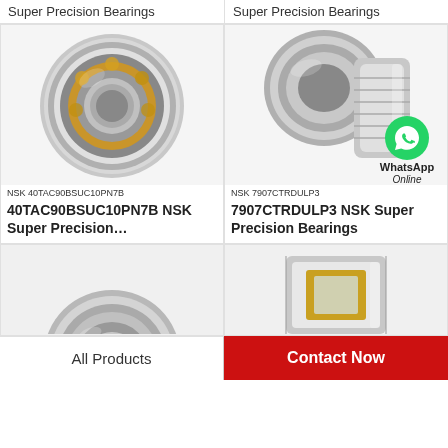Super Precision Bearings
Super Precision Bearings
[Figure (photo): NSK 40TAC90BSUC10PN7B spherical roller bearing photo]
[Figure (photo): NSK 7907CTRDULP3 angular contact bearing photo with WhatsApp Online badge]
NSK 40TAC90BSUC10PN7B
NSK 7907CTRDULP3
40TAC90BSUC10PN7B NSK Super Precision…
7907CTRDULP3 NSK Super Precision Bearings
[Figure (photo): Partial NSK spherical roller bearing photo bottom left]
[Figure (photo): Partial NSK cylindrical roller bearing photo bottom right]
All Products
Contact Now